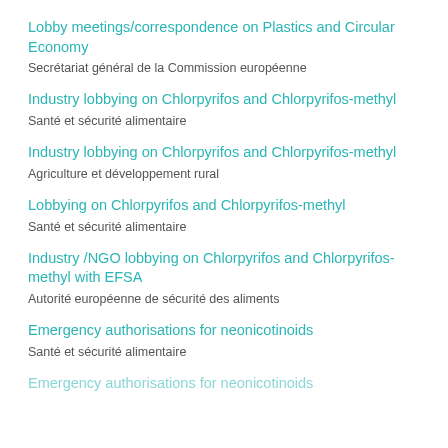Lobby meetings/correspondence on Plastics and Circular Economy
Secrétariat général de la Commission européenne
Industry lobbying on Chlorpyrifos and Chlorpyrifos-methyl
Santé et sécurité alimentaire
Industry lobbying on Chlorpyrifos and Chlorpyrifos-methyl
Agriculture et développement rural
Lobbying on Chlorpyrifos and Chlorpyrifos-methyl
Santé et sécurité alimentaire
Industry /NGO lobbying on Chlorpyrifos and Chlorpyrifos-methyl with EFSA
Autorité européenne de sécurité des aliments
Emergency authorisations for neonicotinoids
Santé et sécurité alimentaire
Emergency authorisations for neonicotinoids